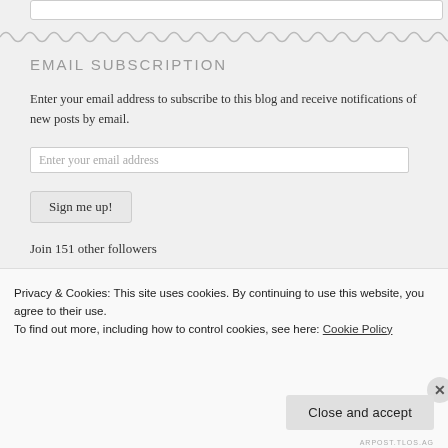EMAIL SUBSCRIPTION
Enter your email address to subscribe to this blog and receive notifications of new posts by email.
Enter your email address
Sign me up!
Join 151 other followers
Privacy & Cookies: This site uses cookies. By continuing to use this website, you agree to their use.
To find out more, including how to control cookies, see here: Cookie Policy
Close and accept